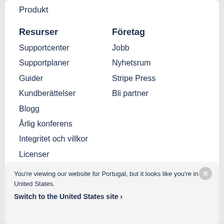Produkt
Resurser
Företag
Supportcenter
Jobb
Supportplaner
Nyhetsrum
Guider
Stripe Press
Kundberättelser
Bli partner
Blogg
Årlig konferens
Integritet och villkor
Licenser
Covid-19
Sitemap
You're viewing our website for Portugal, but it looks like you're in the United States.
Switch to the United States site ›